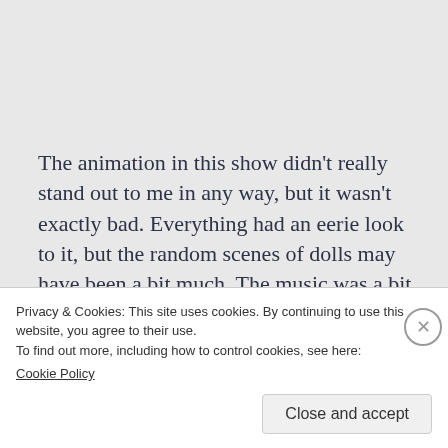The animation in this show didn't really stand out to me in any way, but it wasn't exactly bad. Everything had an eerie look to it, but the random scenes of dolls may have been a bit much. The music was a bit disappointing for me. The main theme is super mysterious and
Privacy & Cookies: This site uses cookies. By continuing to use this website, you agree to their use.
To find out more, including how to control cookies, see here:
Cookie Policy
Close and accept